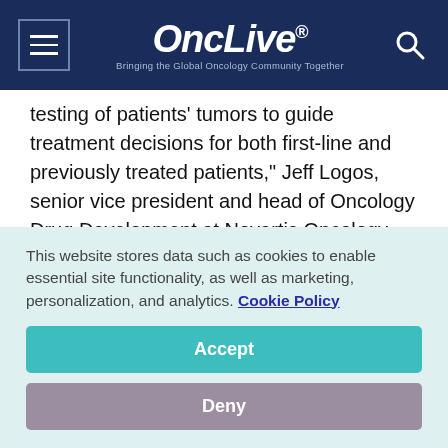OncLive® — Bringing the Global Oncology Community Together
testing of patients' tumors to guide treatment decisions for both first-line and previously treated patients," Jeff Logos, senior vice president and head of Oncology Drug Development at Novartis Oncology, stated in a press release.²
A total of 364 patients with advanced NSCLC were enrolled in GEOMETRY mono-1 and were randomized to
This website stores data such as cookies to enable essential site functionality, as well as marketing, personalization, and analytics. Cookie Policy
Accept
Deny